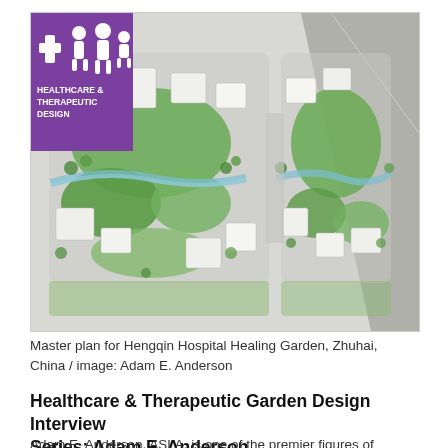[Figure (illustration): Aerial master plan rendering of Hengqin Hospital Healing Garden in Zhuhai, China showing two large complex blocks with green landscaped areas, paths, buildings. A purple Healthcare & Therapeutic Design badge/icon appears in the top-left corner of the image.]
Master plan for Hengqin Hospital Healing Garden, Zhuhai, China / image: Adam E. Anderson
Healthcare & Therapeutic Garden Design Interview Series: Adam E. Anderson
Adam E. Anderson, ASLA, is one of the premier figures of